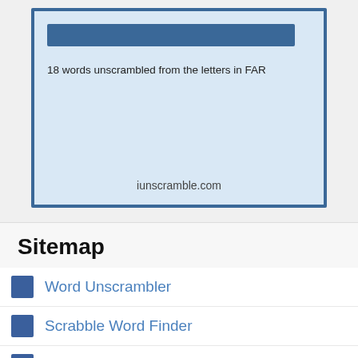[Figure (screenshot): A blue-bordered box with light blue background containing a dark blue search bar at the top, text '18 words unscrambled from the letters in FAR', and 'iunscramble.com' at the bottom center.]
Sitemap
Word Unscrambler
Scrabble Word Finder
Word Scrambler